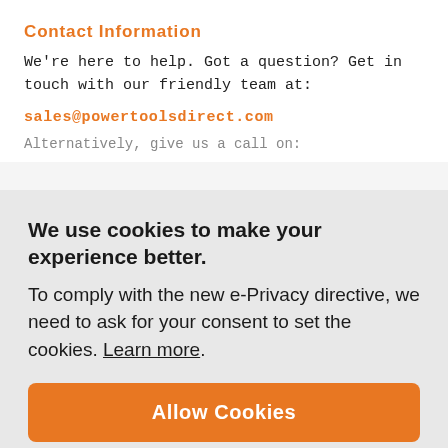Contact Information
We're here to help. Got a question? Get in touch with our friendly team at:
sales@powertoolsdirect.com
Alternatively, give us a call on:
We use cookies to make your experience better. To comply with the new e-Privacy directive, we need to ask for your consent to set the cookies. Learn more.
Allow Cookies